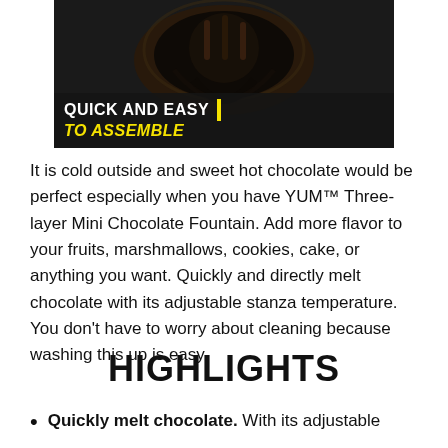[Figure (photo): A chocolate fountain with dark melted chocolate, product photo with overlay text reading 'QUICK AND EASY TO ASSEMBLE']
It is cold outside and sweet hot chocolate would be perfect especially when you have YUM™ Three-layer Mini Chocolate Fountain. Add more flavor to your fruits, marshmallows, cookies, cake, or anything you want. Quickly and directly melt chocolate with its adjustable stanza temperature. You don't have to worry about cleaning because washing this up is easy
HIGHLIGHTS
Quickly melt chocolate. With its adjustable stanza temperature, this one really does it